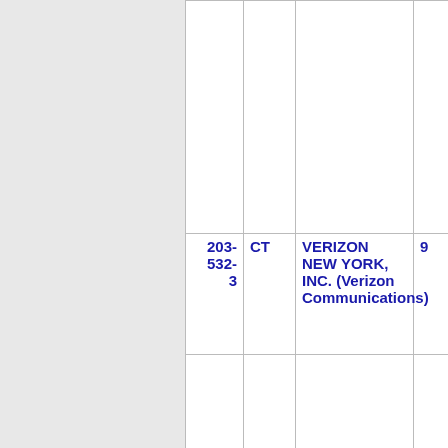| NXX | State | Company | ... |
| --- | --- | --- | --- |
| 203-532-3 | CT | VERIZON NEW YORK, INC. (Verizon Communications) | 9 |